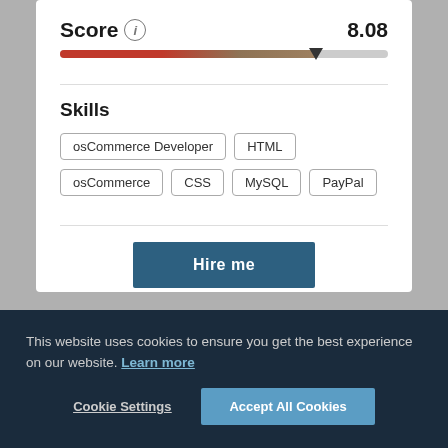Score  8.08
Skills
osCommerce Developer
HTML
osCommerce
CSS
MySQL
PayPal
Hire me
This website uses cookies to ensure you get the best experience on our website. Learn more
Cookie Settings
Accept All Cookies